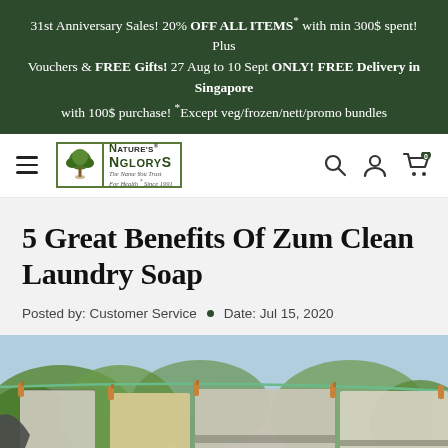31st Anniversary Sales! 20% OFF ALL ITEMS* with min 300$ spent! Plus Vouchers & FREE Gifts! 27 Aug to 10 Sept ONLY! FREE Delivery in Singapore with 100$ purchase! *Except veg/frozen/nett/promo bundles
[Figure (logo): Nature's Glory logo — tree icon with text 'Nature's Glory, The Name You Trust For Health * Since 1991', navigation icons (search, account, cart with 0)]
5 Great Benefits Of Zum Clean Laundry Soap
Posted by: Customer Service   •   Date: Jul 15, 2020
[Figure (photo): Clothes hanging on a laundry line outdoors with wooden pegs, trees and blue sky in background. Sheets and garments in beige, grey and white colors.]